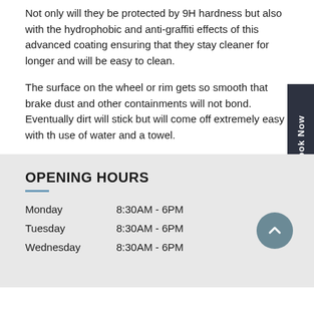Not only will they be protected by 9H hardness but also with the hydrophobic and anti-graffiti effects of this advanced coating ensuring that they stay cleaner for longer and will be easy to clean.
The surface on the wheel or rim gets so smooth that brake dust and other containments will not bond. Eventually dirt will stick but will come off extremely easy with the use of water and a towel.
OPENING HOURS
| Day | Hours |
| --- | --- |
| Monday | 8:30AM - 6PM |
| Tuesday | 8:30AM - 6PM |
| Wednesday | 8:30AM - 6PM |